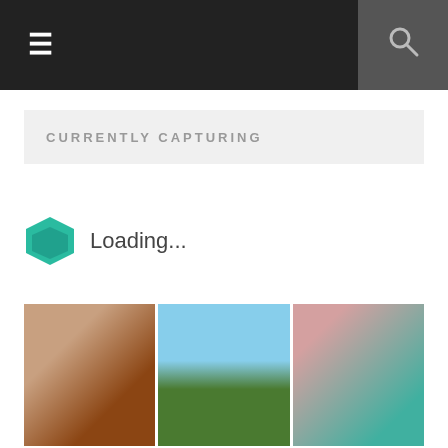≡  [navigation menu]  [search]
CURRENTLY CAPTURING
Loading...
[Figure (photo): 3x3 grid of Instagram-style photos: group of women posing, sky with clouds and landscape, two young women, child in panda costume outdoors, children gathered at outdoor school event, child in penguin costume holding a book, rainbow over landscape, art self-publishing fiction poster, woman with painting]